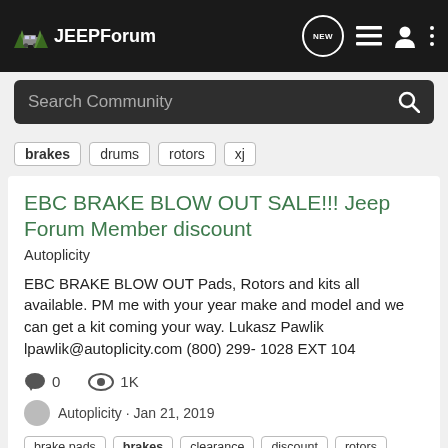JEEPForum
Search Community
brakes  drums  rotors  xj
EBC BRAKE BLOW OUT SALE!!! Jeep Forum Member discount
Autoplicity
EBC BRAKE BLOW OUT Pads, Rotors and kits all available. PM me with your year make and model and we can get a kit coming your way. Lukasz Pawlik lpawlik@autoplicity.com (800) 299- 1028 EXT 104
0  1K
Autoplicity · Jan 21, 2019
brake pads  brakes  clearance  discount  rotors